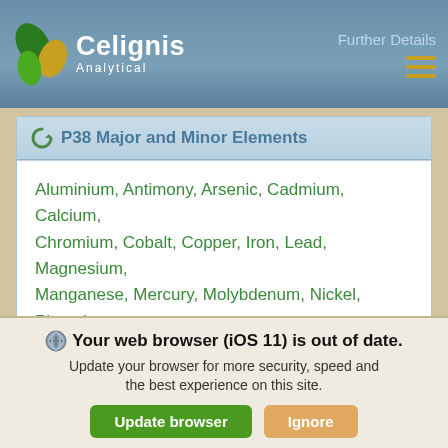Celignis Analytical — Further Details
P38 Major and Minor Elements
Aluminium, Antimony, Arsenic, Cadmium, Calcium, Chromium, Cobalt, Copper, Iron, Lead, Magnesium, Manganese, Mercury, Molybdenum, Nickel, Phosphorus, Potassium, Silicon, Sodium, Titanium, Vanadium, Zinc
Further Details
P50 Ultimate Combustion Package
Your web browser (iOS 11) is out of date. Update your browser for more security, speed and the best experience on this site.